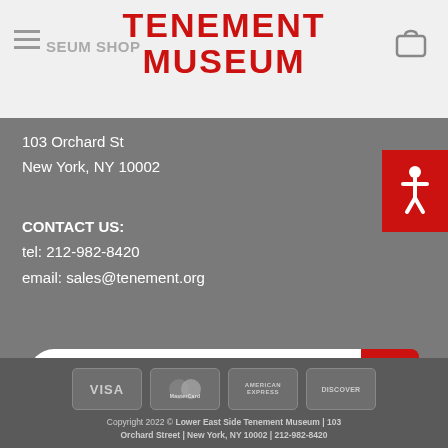MUSEUM SHOP
TENEMENT MUSEUM
103 Orchard St
New York, NY 10002
CONTACT US:
tel: 212-982-8420
email: sales@tenement.org
Search
Copyright 2022 © Lower East Side Tenement Museum | 103 Orchard Street | New York, NY 10002 | 212-982-8420